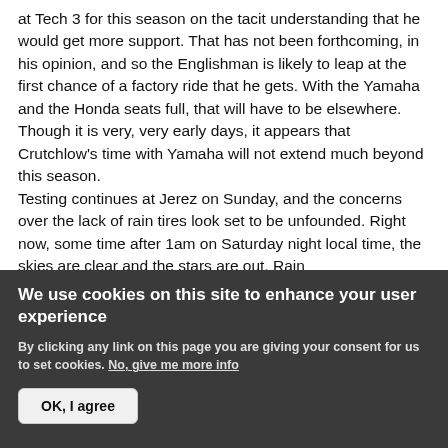at Tech 3 for this season on the tacit understanding that he would get more support. That has not been forthcoming, in his opinion, and so the Englishman is likely to leap at the first chance of a factory ride that he gets. With the Yamaha and the Honda seats full, that will have to be elsewhere. Though it is very, very early days, it appears that Crutchlow's time with Yamaha will not extend much beyond this season.

Testing continues at Jerez on Sunday, and the concerns over the lack of rain tires look set to be unfounded. Right now, some time after 1am on Saturday night local time, the skies are clear and the stars are out. Rain
We use cookies on this site to enhance your user experience
By clicking any link on this page you are giving your consent for us to set cookies. No, give me more info
OK, I agree